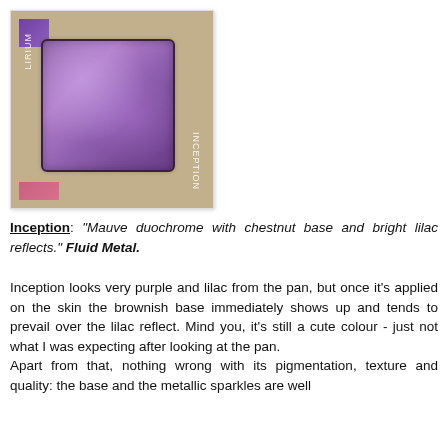[Figure (photo): Close-up photograph of an eyeshadow pan labeled INCEPTION showing a shimmery mauve/purple duochrome metallic eyeshadow in a tan/beige palette tray, with a pink shadow visible in the bottom left corner and a purple shadow in the top left corner.]
Inception: "Mauve duochrome with chestnut base and bright lilac reflects." Fluid Metal.
Inception looks very purple and lilac from the pan, but once it's applied on the skin the brownish base immediately shows up and tends to prevail over the lilac reflect. Mind you, it's still a cute colour - just not what I was expecting after looking at the pan.
Apart from that, nothing wrong with its pigmentation, texture and quality: the base and the metallic sparkles are well